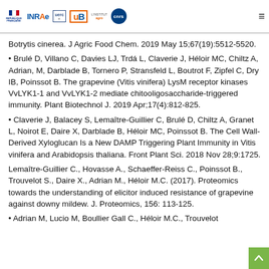REPUBLIQUE FRANÇAISE | INRAE | uerc | uB | L'INSTITUT agro | CNRS
Botrytis cinerea. J Agric Food Chem. 2019 May 15;67(19):5512-5520.
Brulé D, Villano C, Davies LJ, Trdá L, Claverie J, Héloir MC, Chiltz A, Adrian, M, Darblade B, Tornero P, Stransfeld L, Boutrot F, Zipfel C, Dry IB, Poinssot B. The grapevine (Vitis vinifera) LysM receptor kinases VvLYK1-1 and VvLYK1-2 mediate chitooligosaccharide-triggered immunity. Plant Biotechnol J. 2019 Apr;17(4):812-825.
Claverie J, Balacey S, Lemaître-Guillier C, Brulé D, Chiltz A, Granet L, Noirot E, Daire X, Darblade B, Héloir MC, Poinssot B. The Cell Wall-Derived Xyloglucan Is a New DAMP Triggering Plant Immunity in Vitis vinifera and Arabidopsis thaliana. Front Plant Sci. 2018 Nov 28;9:1725.
Lemaître-Guillier C., Hovasse A., Schaeffer-Reiss C., Poinssot B., Trouvelot S., Daire X., Adrian M., Héloir M.C. (2017). Proteomics towards the understanding of elicitor induced resistance of grapevine against downy mildew. J. Proteomics, 156: 113-125.
Adrian M., Lucio M., Boullier Gall C., Héloir M.C., Trouvelot ...